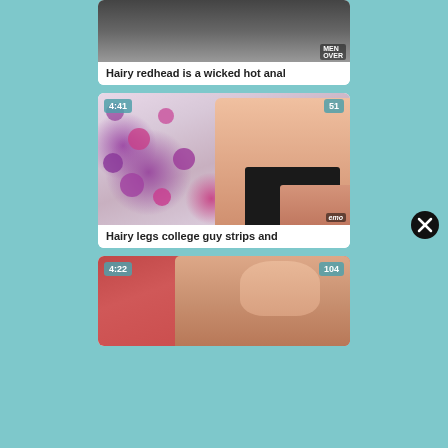[Figure (screenshot): Video thumbnail - partial view at top of page, shows two people, watermark 'MEN OVER' in bottom right]
Hairy redhead is a wicked hot anal
[Figure (screenshot): Video thumbnail - person lying on polka dot bedding, wearing black shorts, duration badge 4:41, views badge 51, watermark 'emo']
Hairy legs college guy strips and
[Figure (screenshot): Video thumbnail - person on red couch, duration badge 4:22, views badge 104, partial view at bottom]
[Figure (other): Close/dismiss button (X) on the right side of page]